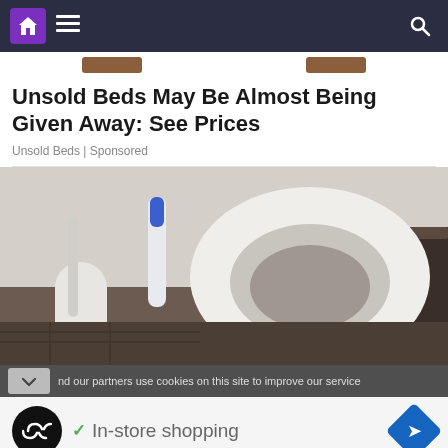Navigation bar with home, menu, and search icons
Unsold Beds May Be Almost Being Given Away: See Prices
Unsold Beds | Sponsored
[Figure (photo): Close-up photo of a white toilet seat with lid open, a white toilet brush holder to the left, and a blue electric toothbrush in the background. Dark-tiled floor visible.]
nd our partners use cookies on this site to improve our service
✓ In-store shopping